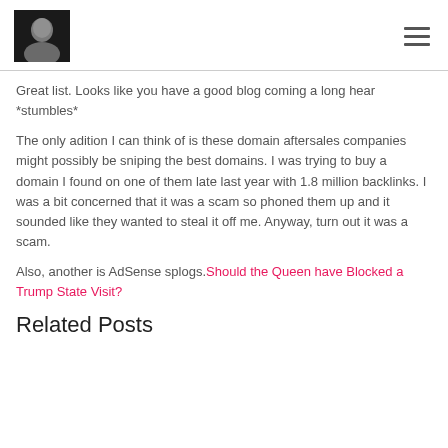[Profile photo and hamburger menu]
Great list. Looks like you have a good blog coming a long hear *stumbles*
The only adition I can think of is these domain aftersales companies might possibly be sniping the best domains. I was trying to buy a domain I found on one of them late last year with 1.8 million backlinks. I was a bit concerned that it was a scam so phoned them up and it sounded like they wanted to steal it off me. Anyway, turn out it was a scam.
Also, another is AdSense splogs. Should the Queen have Blocked a Trump State Visit?
Related Posts